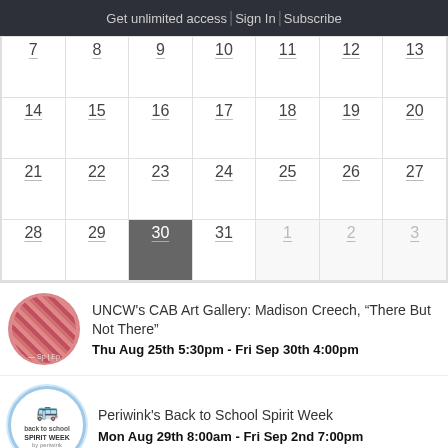Get unlimited access | Sign In | Subscribe
| 7 | 8 | 9 | 10 | 11 | 12 | 13 |
| --- | --- | --- | --- | --- | --- | --- |
| 14 | 15 | 16 | 17 | 18 | 19 | 20 |
| 21 | 22 | 23 | 24 | 25 | 26 | 27 |
| 28 | 29 | 30 | 31 | 1 | 2 | 3 |
UNCW's CAB Art Gallery: Madison Creech, “There But Not There”
Thu Aug 25th 5:30pm - Fri Sep 30th 4:00pm
Periwink's Back to School Spirit Week
Mon Aug 29th 8:00am - Fri Sep 2nd 7:00pm
Flytrap Brewing Happenings
Tue Aug 30th 5:00pm - 8:00pm